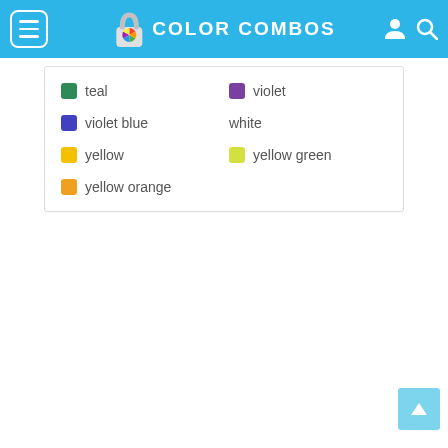COLOR COMBOS
teal
violet
violet blue
white
yellow
yellow green
yellow orange